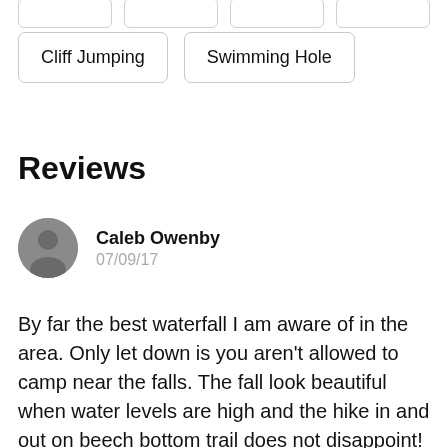Cliff Jumping
Swimming Hole
Reviews
Caleb Owenby
07/09/17
By far the best waterfall I am aware of in the area. Only let down is you aren't allowed to camp near the falls. The fall look beautiful when water levels are high and the hike in and out on beech bottom trail does not disappoint! Highly recommend this